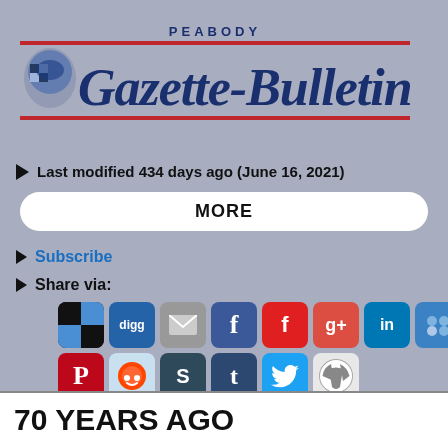[Figure (logo): Peabody Gazette-Bulletin newspaper masthead logo with dark blue serif text, red horizontal rules, and decorative eagle emblem]
Last modified 434 days ago (June 16, 2021)
MORE
Subscribe
Share via:
[Figure (infographic): Row of social media share icons: Networked Blogs (black/blue), Digg (blue), Email (gray), Facebook (blue), Flipboard (red), Google+ (red), LinkedIn (blue), MSN (blue), Newsvine (green), Pinterest (red), Reddit (light blue/orange), StumbleUpon (dark teal), Tumblr (dark blue), Twitter (cyan), WordPress (gray/white)]
Return to Peabody Gazette-Bulletin
70 YEARS AGO